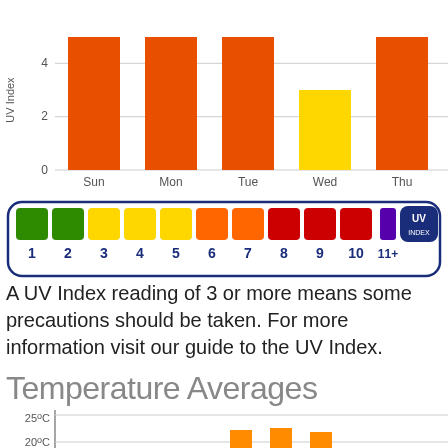[Figure (bar-chart): UV Index]
[Figure (infographic): UV Index color scale from 1 to 11+, with colored squares: green (1,2), yellow (3,4,5), orange (6,7), red (8,9,10), purple (11+), and UV INDEX logo]
A UV Index reading of 3 or more means some precautions should be taken. For more information visit our guide to the UV Index.
Temperature Averages
[Figure (bar-chart): Temperature Averages]